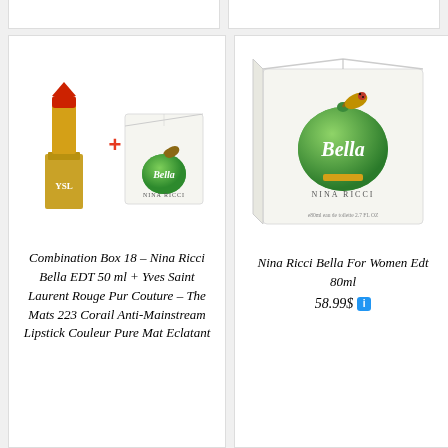[Figure (photo): Product image: YSL lipstick (red, gold casing) plus Nina Ricci Bella EDT box with green apple design]
Combination Box 18 – Nina Ricci Bella EDT 50 ml + Yves Saint Laurent Rouge Pur Couture – The Mats 223 Corail Anti-Mainstream Lipstick Couleur Pure Mat Eclatant
[Figure (photo): Product image: Nina Ricci Bella For Women EDT 80ml white box with green apple design, 80ml / 2.7 FL.OZ label]
Nina Ricci Bella For Women Edt 80ml 58.99$